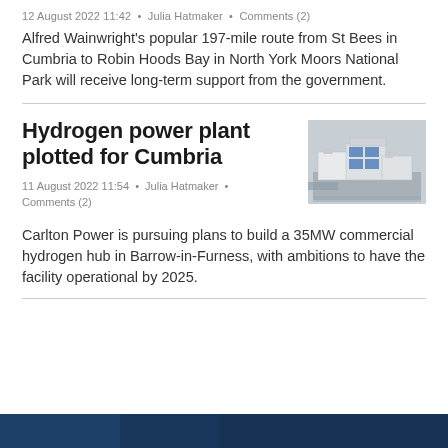12 August 2022 11:42 • Julia Hatmaker • Comments (2)
Alfred Wainwright's popular 197-mile route from St Bees in Cumbria to Robin Hoods Bay in North York Moors National Park will receive long-term support from the government.
Hydrogen power plant plotted for Cumbria
11 August 2022 11:54 • Julia Hatmaker • Comments (2)
[Figure (photo): 3D architectural rendering of a hydrogen power facility complex with white industrial buildings and blue accents]
Carlton Power is pursuing plans to build a 35MW commercial hydrogen hub in Barrow-in-Furness, with ambitions to have the facility operational by 2025.
[Figure (photo): Partial dark blue strip at the bottom of the page showing the top of another article's image]